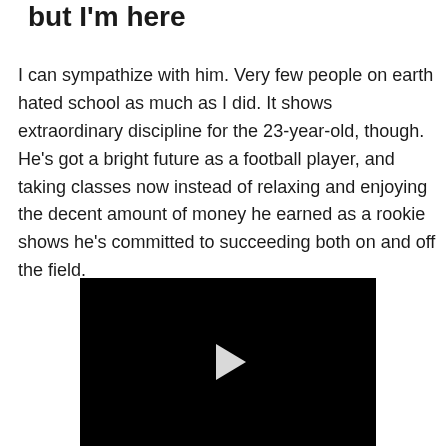but I'm here
I can sympathize with him. Very few people on earth hated school as much as I did. It shows extraordinary discipline for the 23-year-old, though. He's got a bright future as a football player, and taking classes now instead of relaxing and enjoying the decent amount of money he earned as a rookie shows he's committed to succeeding both on and off the field.
[Figure (screenshot): Black video player with a white play button triangle in the center]